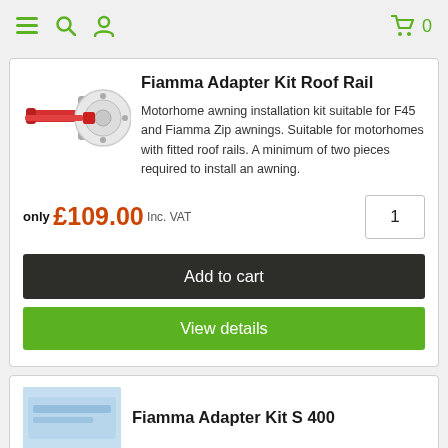Navigation bar with menu, search, account icons and cart (0)
Fiamma Adapter Kit Roof Rail
Motorhome awning installation kit suitable for F45 and Fiamma Zip awnings. Suitable for motorhomes with fitted roof rails. A minimum of two pieces required to install an awning.
only £109.00 Inc. VAT
Add to cart
View details
Fiamma Adapter Kit S 400